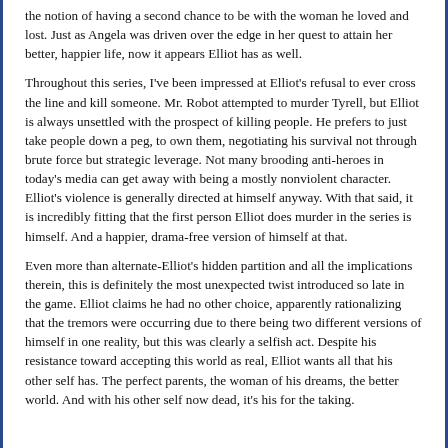the notion of having a second chance to be with the woman he loved and lost. Just as Angela was driven over the edge in her quest to attain her better, happier life, now it appears Elliot has as well.
Throughout this series, I've been impressed at Elliot's refusal to ever cross the line and kill someone. Mr. Robot attempted to murder Tyrell, but Elliot is always unsettled with the prospect of killing people. He prefers to just take people down a peg, to own them, negotiating his survival not through brute force but strategic leverage. Not many brooding anti-heroes in today's media can get away with being a mostly nonviolent character. Elliot's violence is generally directed at himself anyway. With that said, it is incredibly fitting that the first person Elliot does murder in the series is himself. And a happier, drama-free version of himself at that.
Even more than alternate-Elliot's hidden partition and all the implications therein, this is definitely the most unexpected twist introduced so late in the game. Elliot claims he had no other choice, apparently rationalizing that the tremors were occurring due to there being two different versions of himself in one reality, but this was clearly a selfish act. Despite his resistance toward accepting this world as real, Elliot wants all that his other self has. The perfect parents, the woman of his dreams, the better world. And with his other self now dead, it's his for the taking.